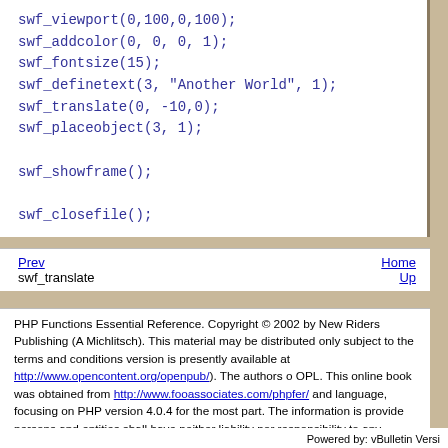swf_viewport(0,100,0,100);
swf_addcolor(0, 0, 0, 1);
swf_fontsize(15);
swf_definetext(3, "Another World", 1);
swf_translate(0, -10,0);
swf_placeobject(3, 1);

swf_showframe();

swf_closefile();
Prev
swf_translate
Home
Up
PHP Functions Essential Reference. Copyright © 2002 by New Riders Publishing (A... Michlitsch). This material may be distributed only subject to the terms and conditions... version is presently available at http://www.opencontent.org/openpub/). The authors o... OPL. This online book was obtained from http://www.fooassociates.com/phpfer/ and... language, focusing on PHP version 4.0.4 for the most part. The information is provide... persons and entities shall have neither liability nor responsibility to any person or ent... information contained in this book.
---- Meadow Fixed
Powered by: vBulletin Versi...
Copyright ©2000 - 2005, Jelsoft E...
Copyright © 2001 - 2005, ThinkDing LLC...